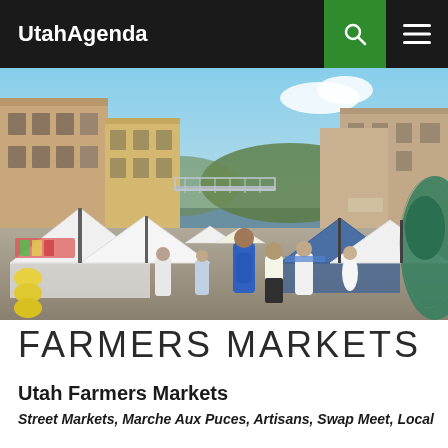UtahAgenda
[Figure (photo): Outdoor farmers market scene with white tents lining a pedestrian street, crowded with shoppers. Colorful multi-story buildings flank the street with a decorative bridge visible in the background. A large green sculptural figure is visible at the right edge. Sunny sky with green hills in the distance.]
FARMERS MARKETS
Utah Farmers Markets
Street Markets, Marche Aux Puces, Artisans, Swap Meet, Local